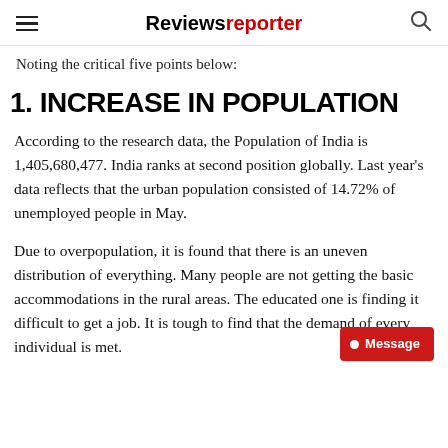Reviewsreporter
Noting the critical five points below:
1. INCREASE IN POPULATION
According to the research data, the Population of India is 1,405,680,477. India ranks at second position globally. Last year's data reflects that the urban population consisted of 14.72% of unemployed people in May.
Due to overpopulation, it is found that there is an uneven distribution of everything. Many people are not getting the basic accommodations in the rural areas. The educated one is finding it difficult to get a job. It is tough to find that the demand of every individual is met.